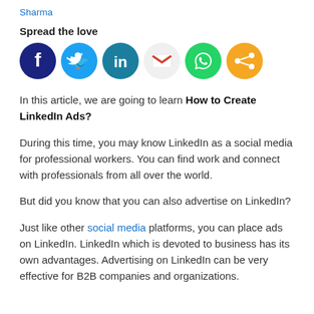Sharma
Spread the love
[Figure (illustration): Six social media share icons in a row: Facebook (dark blue), Twitter (light blue), LinkedIn (teal/blue), Gmail (red/white), WhatsApp (green), and a generic share icon (orange).]
In this article, we are going to learn How to Create LinkedIn Ads?
During this time, you may know LinkedIn as a social media for professional workers. You can find work and connect with professionals from all over the world.
But did you know that you can also advertise on LinkedIn?
Just like other social media platforms, you can place ads on LinkedIn. LinkedIn which is devoted to business has its own advantages. Advertising on LinkedIn can be very effective for B2B companies and organizations.